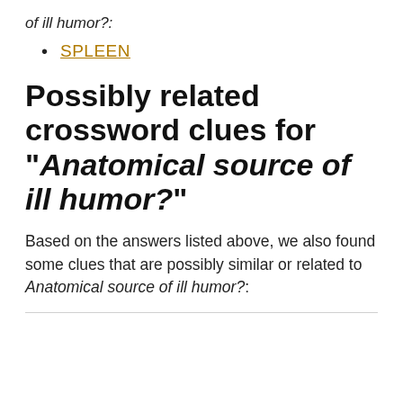of ill humor?:
SPLEEN
Possibly related crossword clues for "Anatomical source of ill humor?"
Based on the answers listed above, we also found some clues that are possibly similar or related to Anatomical source of ill humor?: